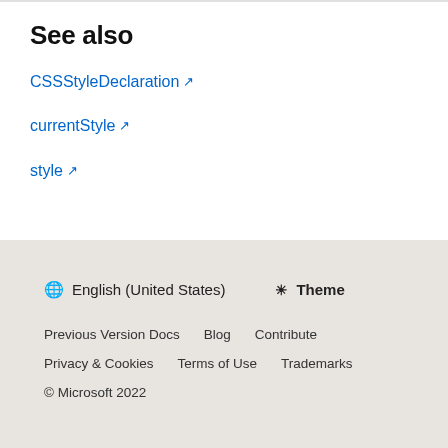See also
CSSStyleDeclaration ↗
currentStyle ↗
style ↗
🌐 English (United States)  ☀ Theme
Previous Version Docs  Blog  Contribute
Privacy & Cookies  Terms of Use  Trademarks
© Microsoft 2022